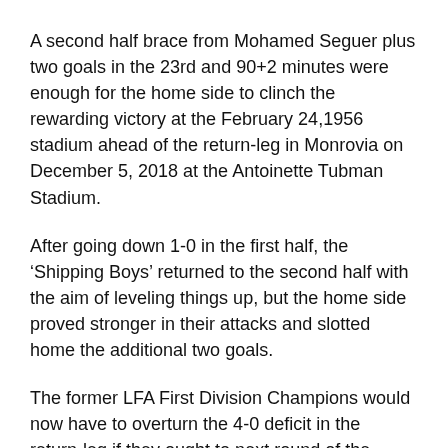A second half brace from Mohamed Seguer plus two goals in the 23rd and 90+2 minutes were enough for the home side to clinch the rewarding victory at the February 24,1956 stadium ahead of the return-leg in Monrovia on December 5, 2018 at the Antoinette Tubman Stadium.
After going down 1-0 in the first half, the ‘Shipping Boys’ returned to the second half with the aim of leveling things up, but the home side proved stronger in their attacks and slotted home the additional two goals.
The former LFA First Division Champions would now have to overturn the 4-0 deficit in the return-leg if they ought to next round of the competition.
LISCR arrived in Algeria during the evening hours of Sunday, November 25, after transiting in Abidjan, Ivory Coast and